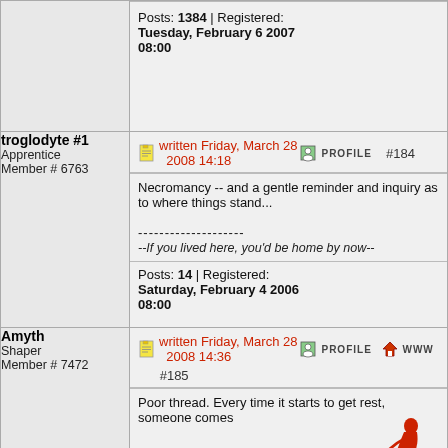| User | Post |
| --- | --- |
| (continued from above) | Posts: 1384 | Registered: Tuesday, February 6 2007 08:00 |
| troglodyte #1
Apprentice
Member # 6763 | written Friday, March 28 2008 14:18 PROFILE #184
Necromancy -- and a gentle reminder and inquiry as to where things stand...
--------------------
--If you lived here, you'd be home by now--
Posts: 14 | Registered: Saturday, February 4 2006 08:00 |
| Amyth
Shaper
Member # 7472 | written Friday, March 28 2008 14:36 PROFILE WWW #185
Poor thread. Every time it starts to get rest, someone comes along and does this:
Personally, I think we should just |